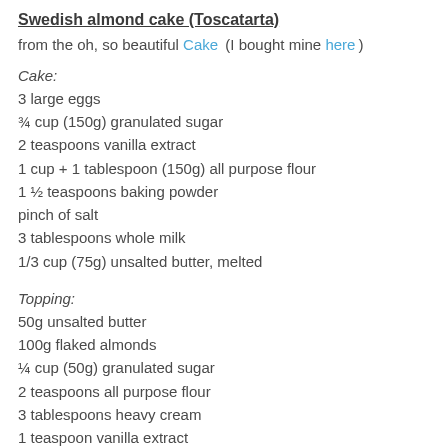Swedish almond cake (Toscatarta)
from the oh, so beautiful Cake (I bought mine here )
Cake:
3 large eggs
¾ cup (150g) granulated sugar
2 teaspoons vanilla extract
1 cup + 1 tablespoon (150g) all purpose flour
1 ½ teaspoons baking powder
pinch of salt
3 tablespoons whole milk
1/3 cup (75g) unsalted butter, melted
Topping:
50g unsalted butter
100g flaked almonds
¼ cup (50g) granulated sugar
2 teaspoons all purpose flour
3 tablespoons heavy cream
1 teaspoon vanilla extract
Preheat the oven to 180°C/350°F. Butter and flour a 23cm (9in) springform or loose-bottomed cake pan; if you're